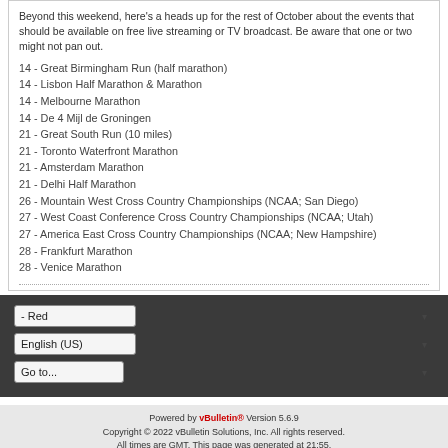Beyond this weekend, here's a heads up for the rest of October about the events that should be available on free live streaming or TV broadcast. Be aware that one or two might not pan out.
14 - Great Birmingham Run (half marathon)
14 - Lisbon Half Marathon & Marathon
14 - Melbourne Marathon
14 - De 4 Mijl de Groningen
21 - Great South Run (10 miles)
21 - Toronto Waterfront Marathon
21 - Amsterdam Marathon
21 - Delhi Half Marathon
26 - Mountain West Cross Country Championships (NCAA; San Diego)
27 - West Coast Conference Cross Country Championships (NCAA; Utah)
27 - America East Cross Country Championships (NCAA; New Hampshire)
28 - Frankfurt Marathon
28 - Venice Marathon
Powered by vBulletin® Version 5.6.9 Copyright © 2022 vBulletin Solutions, Inc. All rights reserved. All times are GMT. This page was generated at 21:55.